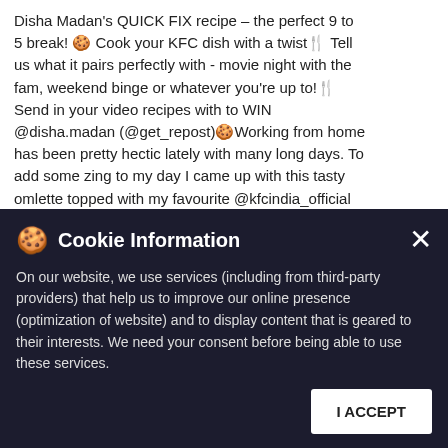Disha Madan's QUICK FIX recipe – the perfect 9 to 5 break! 🍪 Cook your KFC dish with a twist🍴 Tell us what it pairs perfectly with - movie night with the fam, weekend binge or whatever you're up to!🍴 Send in your video recipes with to WIN @disha.madan (@get_repost)🍪Working from home has been pretty hectic lately with many long days. To add some zing to my day I came up with this tasty omlette topped with my favourite @kfcindia_official Chicken Strips! Eat well, work well 😊
#KFCHomeKitchen
#Repost
#kfchomekitchen
Posted On: 02 Jul 2020 2:30 PM
[Figure (screenshot): Android and Apple app store icons displayed in a white panel on the right side]
Cookie Information
On our website, we use services (including from third-party providers) that help us to improve our online presence (optimization of website) and to display content that is geared to their interests. We need your consent before being able to use these services.